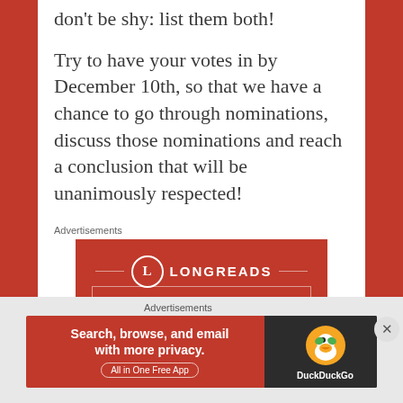don't be shy: list them both!
Try to have your votes in by December 10th, so that we have a chance to go through nominations, discuss those nominations and reach a conclusion that will be unanimously respected!
Advertisements
[Figure (illustration): Longreads advertisement banner: red background with Longreads logo (circle with L) and tagline 'The best stories on the web – ours, and']
Advertisements
[Figure (illustration): DuckDuckGo advertisement: 'Search, browse, and email with more privacy. All in One Free App' with DuckDuckGo duck logo on dark background]